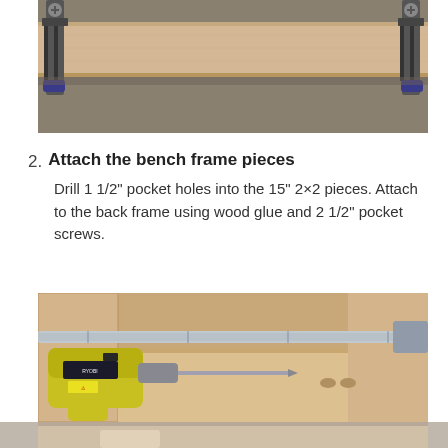[Figure (photo): Wood plank clamped with two C-clamps on a concrete floor, viewed from above]
2. Attach the bench frame pieces
Drill 1 1/2” pocket holes into the 15” 2×2 pieces. Attach to the back frame using wood glue and 2 1/2” pocket screws.
[Figure (photo): Power drill (yellow Ryobi) with pocket hole jig and metal bar clamp on wood pieces for bench frame assembly]
[Figure (photo): Partial view of the assembly area showing concrete floor and wood pieces at the bottom of the page]